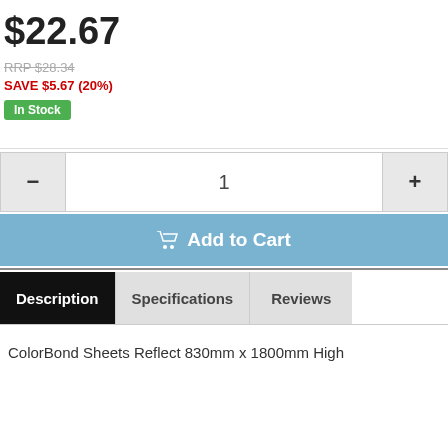$22.67
RRP $28.34
SAVE $5.67 (20%)
In Stock
1
Add to Cart
Description
Specifications
Reviews
ColorBond Sheets Reflect 830mm x 1800mm High